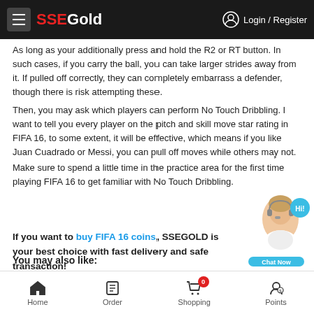SSEGold — Login / Register
As long as your additionally press and hold the R2 or RT button. In such cases, if you carry the ball, you can take larger strides away from it. If pulled off correctly, they can completely embarrass a defender, though there is risk attempting these.
Then, you may ask which players can perform No Touch Dribbling. I want to tell you every player on the pitch and skill move star rating in FIFA 16, to some extent, it will be effective, which means if you like Juan Cuadrado or Messi, you can pull off moves while others may not. Make sure to spend a little time in the practice area for the first time playing FIFA 16 to get familiar with No Touch Dribbling.
If you want to buy FIFA 16 coins, SSEGOLD is your best choice with fast delivery and safe transaction!
You may also like:
Home   Order   Shopping  0  Points